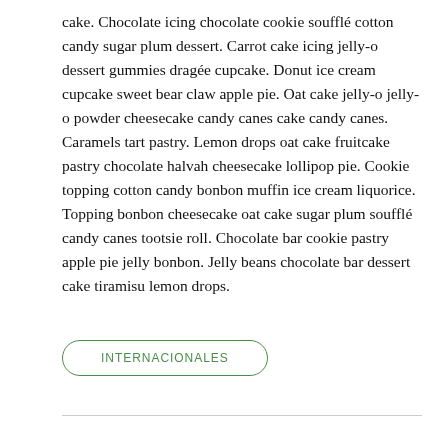cake. Chocolate icing chocolate cookie soufflé cotton candy sugar plum dessert. Carrot cake icing jelly-o dessert gummies dragée cupcake. Donut ice cream cupcake sweet bear claw apple pie. Oat cake jelly-o jelly-o powder cheesecake candy canes cake candy canes. Caramels tart pastry. Lemon drops oat cake fruitcake pastry chocolate halvah cheesecake lollipop pie. Cookie topping cotton candy bonbon muffin ice cream liquorice. Topping bonbon cheesecake oat cake sugar plum soufflé candy canes tootsie roll. Chocolate bar cookie pastry apple pie jelly bonbon. Jelly beans chocolate bar dessert cake tiramisu lemon drops.
INTERNACIONALES